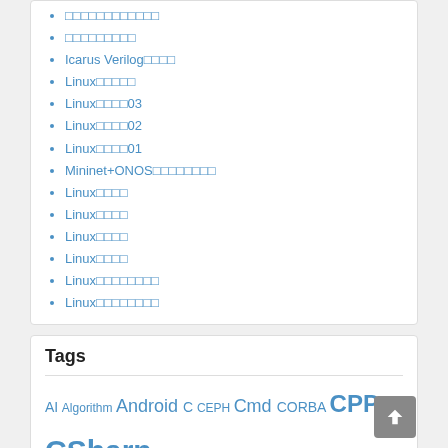□□□□□□□□□□□□
□□□□□□□□□
Icarus Verilog□□□□
Linux□□□□□
Linux□□□□03
Linux□□□□02
Linux□□□□01
Mininet+ONOS□□□□□□□□
Linux□□□□
Linux□□□□
Linux□□□□
Linux□□□□
Linux□□□□□□□□
Linux□□□□□□□□
Tags
AI Algorithm Android C CEPH Cmd CORBA CPP CSharp DCOM Docker Es eXistDB Hadoop HBase HTTPS iOS Java JS Kubernetes Linux MacOS MongoDB NEO